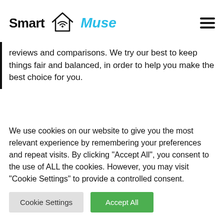Smart Muse
reviews and comparisons. We try our best to keep things fair and balanced, in order to help you make the best choice for you.
We use cookies on our website to give you the most relevant experience by remembering your preferences and repeat visits. By clicking "Accept All", you consent to the use of ALL the cookies. However, you may visit "Cookie Settings" to provide a controlled consent.